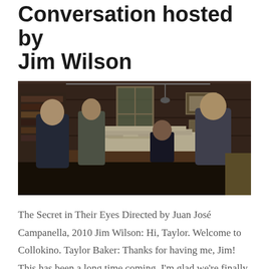Conversation hosted by Jim Wilson
[Figure (photo): Behind-the-scenes photo of a film set showing several people in a wood-paneled office. A man in a dark shirt gestures while speaking, another person stands nearby, and two others sit/stand near a desk piled high with documents and papers. A boom microphone is visible overhead.]
The Secret in Their Eyes Directed by Juan José Campanella, 2010 Jim Wilson: Hi, Taylor. Welcome to Collokino. Taylor Baker: Thanks for having me, Jim! This has been a long time coming. I'm glad we're finally able to...